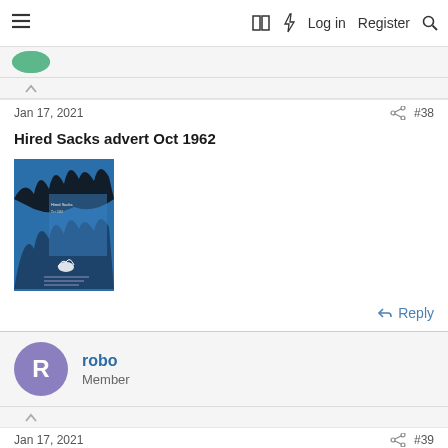≡   □ ⚡ Log in   Register  🔍
Jan 17, 2021   #38
Hired Sacks advert Oct 1962
[Figure (photo): Blue album/advertisement cover image for Hired Sacks October 1962]
↩ Reply
robo
Member
Jan 17, 2021   #39
remember those Squrrel sacks . could get some weight in those